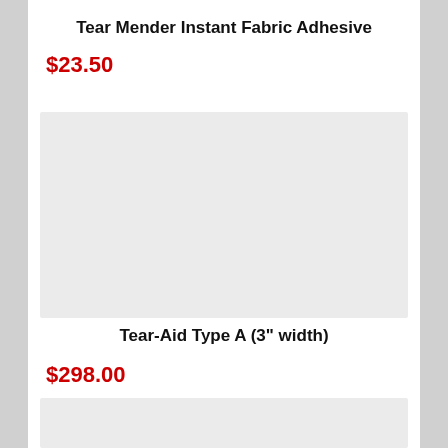Tear Mender Instant Fabric Adhesive
$23.50
[Figure (photo): Product image placeholder for Tear Mender Instant Fabric Adhesive]
Tear-Aid Type A (3" width)
$298.00
[Figure (photo): Product image placeholder for Tear-Aid Type A]